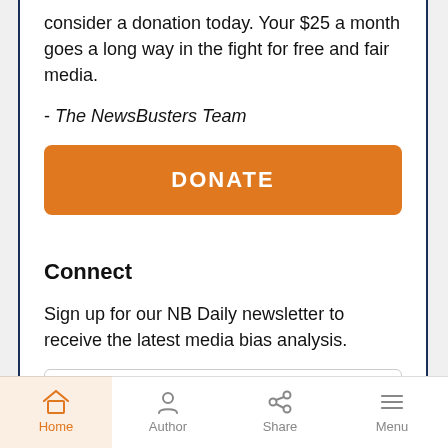consider a donation today. Your $25 a month goes a long way in the fight for free and fair media.
- The NewsBusters Team
[Figure (other): Orange DONATE button]
Connect
Sign up for our NB Daily newsletter to receive the latest media bias analysis.
[Figure (other): Email input field with placeholder 'Email *']
Home  Author  Share  Menu